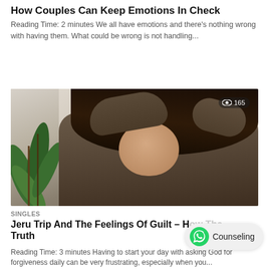How Couples Can Keep Emotions In Check
Reading Time: 2 minutes We all have emotions and there's nothing wrong with having them. What could be wrong is not handling...
[Figure (photo): A woman holding her head in her hands, looking distressed, with a green plant visible in the background. A view badge showing 165 views is in the top right corner of the image.]
SINGLES
Jeru Trip And The Feelings Of Guilt – Ho... Th... Truth
Reading Time: 3 minutes Having to start your day with asking God for forgiveness daily can be very frustrating, especially when you...